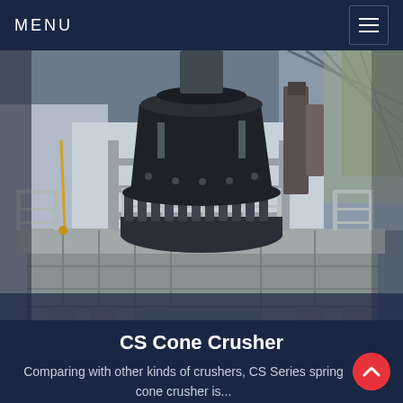MENU
[Figure (photo): Industrial CS cone crusher machine mounted on a steel platform inside a factory/warehouse building. The large black cone crusher is suspended above a grey structural steel base. Metal railings and support columns surround the equipment. Industrial building interior with steel roof structure visible in the background.]
CS Cone Crusher
Comparing with other kinds of crushers, CS Series spring cone crusher is...